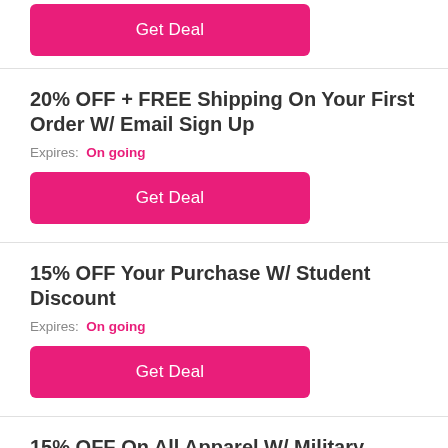[Figure (other): Get Deal button (pink/magenta rounded rectangle) at top of page, partially visible]
20% OFF + FREE Shipping On Your First Order W/ Email Sign Up
Expires:  On going
[Figure (other): Get Deal button (pink/magenta rounded rectangle)]
15% OFF Your Purchase W/ Student Discount
Expires:  On going
[Figure (other): Get Deal button (pink/magenta rounded rectangle)]
15% OFF On All Apparel W/ Military Discount
Expires:  On going
[Figure (other): Get Deal button (pink/magenta rounded rectangle), partially visible at bottom]